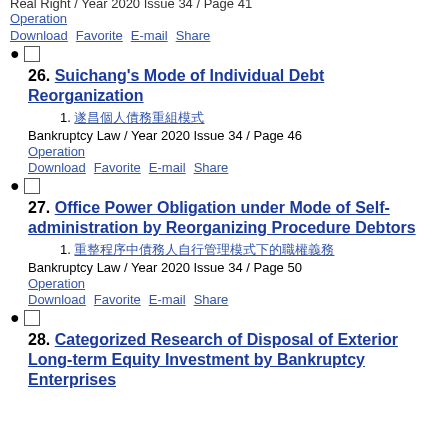Real Right / Year 2020 Issue 34 / Page 41
Operation
Download  Favorite  E-mail  Share
☐
26. Suichang's Mode of Individual Debt Reorganization
1. 遂昌個人債務重組模式
Bankruptcy Law / Year 2020 Issue 34 / Page 46
Operation
Download  Favorite  E-mail  Share
☐
27. Office Power Obligation under Mode of Self-administration by Reorganizing Procedure Debtors
1. 重整程序中債務人自行管理模式下的職權義務
Bankruptcy Law / Year 2020 Issue 34 / Page 50
Operation
Download  Favorite  E-mail  Share
☐
28. Categorized Research of Disposal of Exterior Long-term Equity Investment by Bankruptcy Enterprises